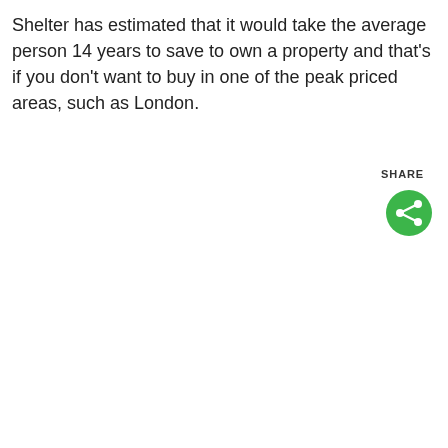Shelter has estimated that it would take the average person 14 years to save to own a property and that's if you don't want to buy in one of the peak priced areas, such as London.
[Figure (other): Green circular share button with white share icon (connected dots), with SHARE label above it]